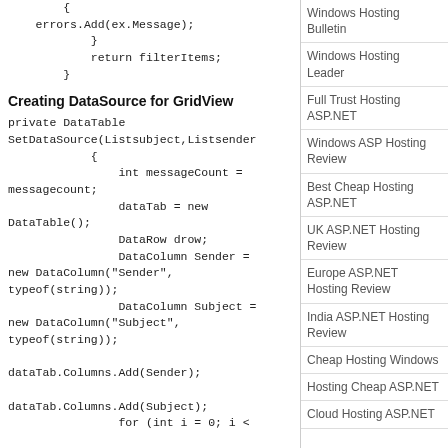{
    errors.Add(ex.Message);
        }
        return filterItems;
    }
Creating DataSource for GridView
private DataTable SetDataSource(Listsubject,Listsender
            {
                int messageCount =
messagecount;
                dataTab = new
DataTable();
                DataRow drow;
                DataColumn Sender =
new DataColumn("Sender",
typeof(string));
                DataColumn Subject =
new DataColumn("Subject",
typeof(string));

dataTab.Columns.Add(Sender);

dataTab.Columns.Add(Subject);
                for (int i = 0; i <
Windows Hosting Bulletin
Windows Hosting Leader
Full Trust Hosting ASP.NET
Windows ASP Hosting Review
Best Cheap Hosting ASP.NET
UK ASP.NET Hosting Review
Europe ASP.NET Hosting Review
India ASP.NET Hosting Review
Cheap Hosting Windows
Hosting Cheap ASP.NET
Cloud Hosting ASP.NET